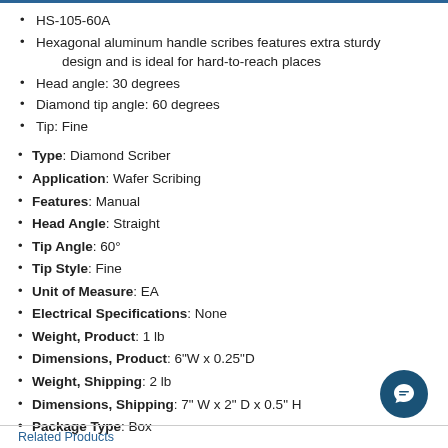HS-105-60A
Hexagonal aluminum handle scribes features extra sturdy design and is ideal for hard-to-reach places
Head angle: 30 degrees
Diamond tip angle: 60 degrees
Tip: Fine
Type: Diamond Scriber
Application: Wafer Scribing
Features: Manual
Head Angle: Straight
Tip Angle: 60°
Tip Style: Fine
Unit of Measure: EA
Electrical Specifications: None
Weight, Product: 1 lb
Dimensions, Product: 6"W x 0.25"D
Weight, Shipping: 2 lb
Dimensions, Shipping: 7" W x 2" D x 0.5" H
Package Type: Box
Related Products